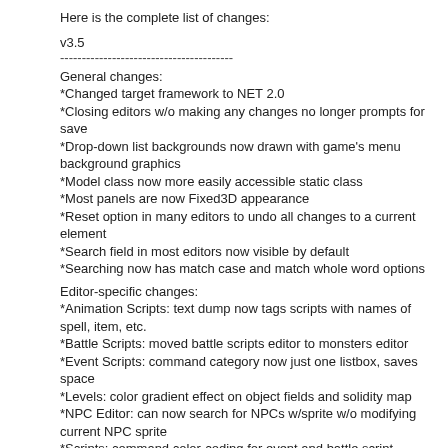Here is the complete list of changes:
v3.5
----------------------------------------
General changes:
*Changed target framework to NET 2.0
*Closing editors w/o making any changes no longer prompts for save
*Drop-down list backgrounds now drawn with game's menu background graphics
*Model class now more easily accessible static class
*Most panels are now Fixed3D appearance
*Reset option in many editors to undo all changes to a current element
*Search field in most editors now visible by default
*Searching now has match case and match whole word options
Editor-specific changes:
*Animation Scripts: text dump now tags scripts with names of spell, item, etc.
*Battle Scripts: moved battle scripts editor to monsters editor
*Event Scripts: command category now just one listbox, saves space
*Levels: color gradient effect on object fields and solidity map
*NPC Editor: can now search for NPCs w/sprite w/o modifying current NPC sprite
*Scripts: command color-coding for event and battle script editors is lighter
*Solid Tiles: solid tile searcher and viewer now far more versatile & superior
*Space analyzer: now one listbox, easier to manage and clearer
Additions: